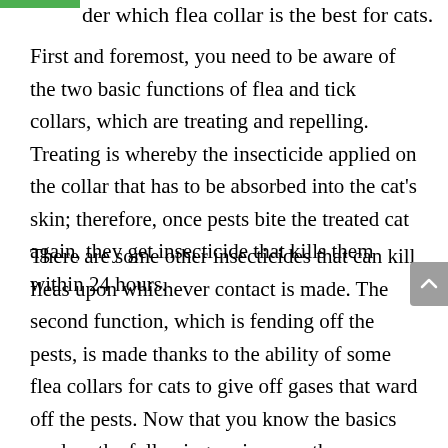der which flea collar is the best for cats.
First and foremost, you need to be aware of the two basic functions of flea and tick collars, which are treating and repelling. Treating is whereby the insecticide applied on the collar that has to be absorbed into the cat's skin; therefore, once pests bite the treated cat again, they get insecticide that kills them within 24 hours.
There are some other insecticides that can kill fleas upon whichever contact is made. The second function, which is fending off the pests, is made thanks to the ability of some flea collars for cats to give off gases that ward off the pests. Now that you know the basics read on the following reviews on the